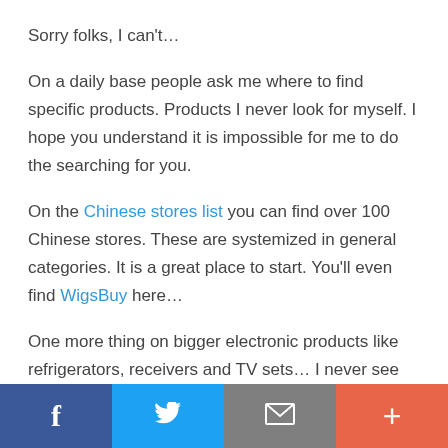Sorry folks, I can't…
On a daily base people ask me where to find specific products. Products I never look for myself. I hope you understand it is impossible for me to do the searching for you.
On the Chinese stores list you can find over 100 Chinese stores. These are systemized in general categories. It is a great place to start. You'll even find WigsBuy here…
One more thing on bigger electronic products like refrigerators, receivers and TV sets… I never see these products in normal stores. I think the